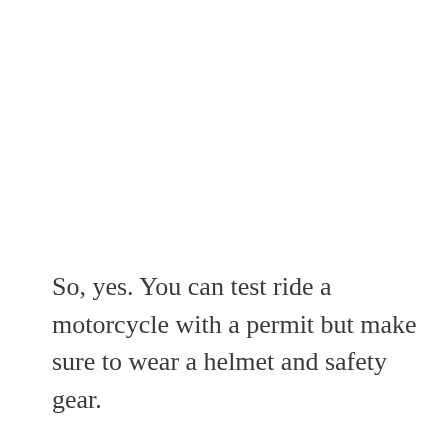So, yes. You can test ride a motorcycle with a permit but make sure to wear a helmet and safety gear.